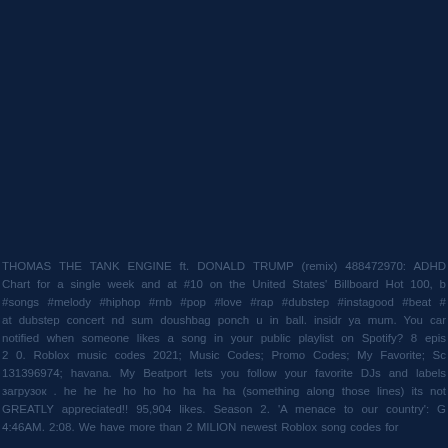[Figure (other): Dark navy blue background filling the upper portion of the page]
THOMAS THE TANK ENGINE ft. DONALD TRUMP (remix) 488472970: ADHD Chart for a single week and at #10 on the United States' Billboard Hot 100, b #songs #melody #hiphop #rnb #pop #love #rap #dubstep #instagood #beat # at dubstep concert nd sum doushbag ponch u in ball. insidr ya mum. You can notified when someone likes a song in your public playlist on Spotify? 8 epis 2 0. Roblox music codes 2021; Music Codes; Promo Codes; My Favorite; Sc 131396974; havana. My Beatport lets you follow your favorite DJs and labels загрузок . he he he ho ho ho ha ha ha (something along those lines) its not GREATLY appreciated!! 95,904 likes. Season 2. 'A menace to our country': G 4:46AM. 2:08. We have more than 2 MILION newest Roblox song codes for